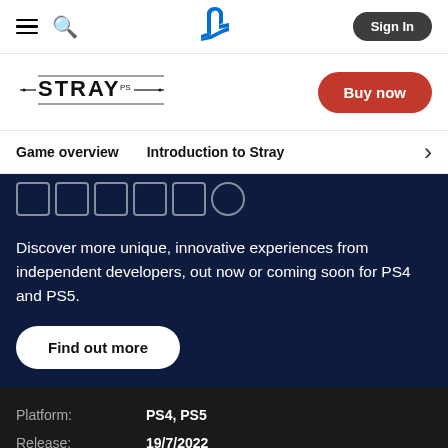PlayStation navigation bar with hamburger menu, search icon, PS logo, Sign In button
[Figure (logo): Stray game logo in stylized text]
Buy now
Game overview    Introduction to Stray
[Figure (illustration): Partial Indie text letters in outlined boxes on dark navy background]
Discover more unique, innovative experiences from independent developers, out now or coming soon for PS4 and PS5.
Find out more
Platform:    PS4, PS5
Release:    19/7/2022